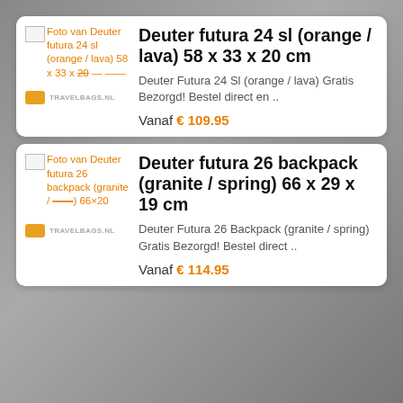[Figure (screenshot): Product listing card for Deuter futura 24 sl (orange / lava) 58 x 33 x 20 cm showing broken image placeholder with orange alt text, product description, price Vanaf €109.95, and travelbags.nl logo]
[Figure (screenshot): Product listing card for Deuter futura 26 backpack (granite / spring) 66 x 29 x 19 cm showing broken image placeholder with orange alt text, product description, price Vanaf €114.95, and travelbags.nl logo]